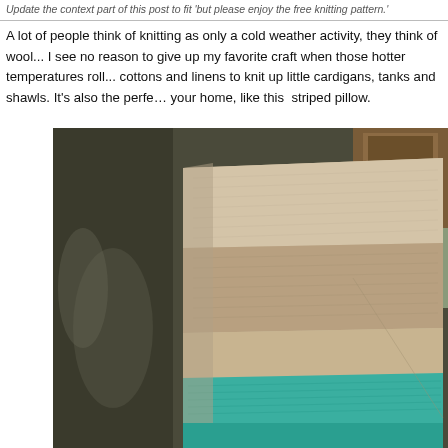Update the context part of this post to fit 'but please enjoy the free knitting pattern.'
A lot of people think of knitting as only a cold weather activity, they think of wool... I see no reason to give up my favorite craft when those hotter temperatures roll... cottons and linens to knit up little cardigans, tanks and shawls. It's also the perfe... your home, like this  striped pillow.
[Figure (photo): Close-up photo of a knitted striped pillow with beige/tan and teal/turquoise horizontal stripes, resting against a dark olive/brown leather surface with a wooden chair visible in the background.]